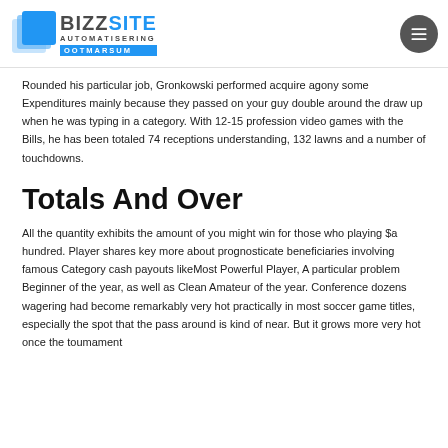BIZZSITE AUTOMATISERING OOTMARSUM
Rounded his particular job, Gronkowski performed acquire agony some Expenditures mainly because they passed on your guy double around the draw up when he was typing in a category. With 12-15 profession video games with the Bills, he has been totaled 74 receptions understanding, 132 lawns and a number of touchdowns.
Totals And Over
All the quantity exhibits the amount of you might win for those who playing $a hundred. Player shares key more about prognosticate beneficiaries involving famous Category cash payouts likeMost Powerful Player, A particular problem Beginner of the year, as well as Clean Amateur of the year. Conference dozens wagering had become remarkably very hot practically in most soccer game titles, especially the spot that the pass around is kind of near. But it grows more very hot once the toumament